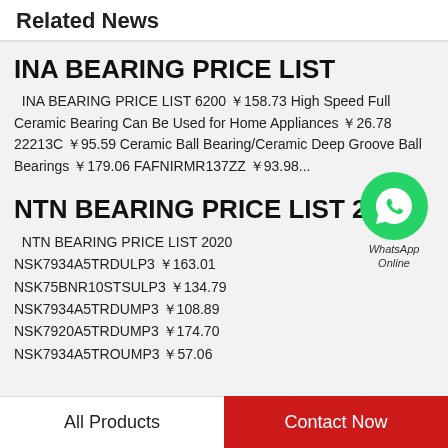Related News
INA BEARING PRICE LIST
INA BEARING PRICE LIST 6200 ￥158.73 High Speed Full Ceramic Bearing Can Be Used for Home Appliances ￥26.78 22213C ￥95.59 Ceramic Ball Bearing/Ceramic Deep Groove Ball Bearings ￥179.06 FAFNIRMR137ZZ ￥93.98...
[Figure (logo): WhatsApp Online green circular icon with phone handset, labeled WhatsApp Online]
NTN BEARING PRICE LIST 2020
NTN BEARING PRICE LIST 2020 NSK7934A5TRDULP3 ￥163.01 NSK75BNR10STSULP3 ￥134.79 NSK7934A5TRDUMP3 ￥108.89 NSK7920A5TRDUMP3 ￥174.70 NSK7934A5TROUMP3 ￥57.06
All Products | Contact Now